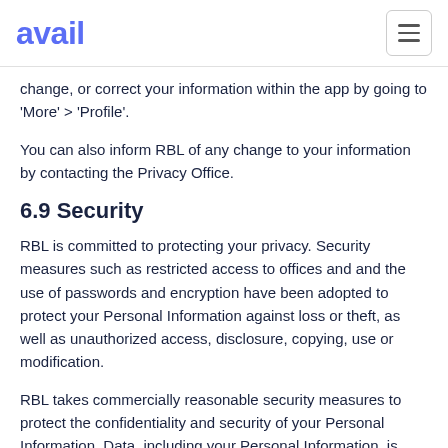avail
change, or correct your information within the app by going to 'More' > 'Profile'.
You can also inform RBL of any change to your information by contacting the Privacy Office.
6.9 Security
RBL is committed to protecting your privacy. Security measures such as restricted access to offices and and the use of passwords and encryption have been adopted to protect your Personal Information against loss or theft, as well as unauthorized access, disclosure, copying, use or modification.
RBL takes commercially reasonable security measures to protect the confidentiality and security of your Personal Information. Data, including your Personal Information, is hosted on secure servers. Our employees have been trained to respect your privacy. Those employees with